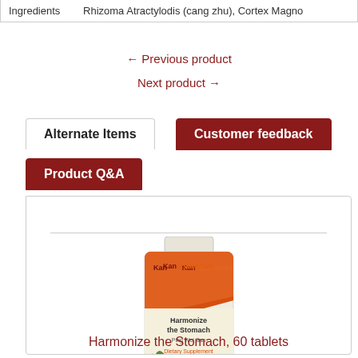| Ingredients |
| --- |
| Rhizoma Atractylodis (cang zhu), Cortex Magno… |
← Previous product
Next product →
Alternate Items
Customer feedback
Product Q&A
[Figure (photo): Bottle of Kan Essentials Harmonize the Stomach supplement, 60 tablets]
Harmonize the Stomach, 60 tablets